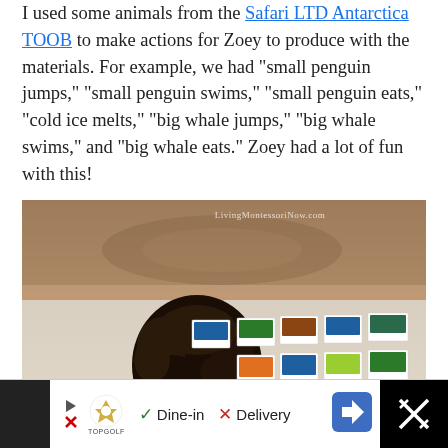I used some animals from the Safari LTD Antarctica TOOB to make actions for Zoey to produce with the materials. For example, we had "small penguin jumps," "small penguin swims," "small penguin eats," "cold ice melts," "big whale jumps," "big whale swims," and "big whale eats." Zoey had a lot of fun with this!
[Figure (photo): Child with curly dark hair, viewed from behind, sitting on the floor with animal flashcards laid out in rows on a rug. Watermark reads LivingMontessoriNow.com]
[Figure (screenshot): Advertisement bar at bottom: Topgolf logo with play arrow and X icons, checkmark Dine-in, X Delivery, blue diamond arrow button on right, black panel with X scissors icon on far right]